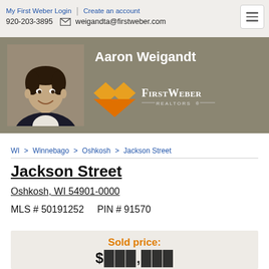My First Weber Login | Create an account | 920-203-3895 | weigandta@firstweber.com
[Figure (photo): Agent profile photo of Aaron Weigandt, a man in a dark suit with white shirt, smiling, on a tan/brown background]
Aaron Weigandt
[Figure (logo): First Weber Realtors logo with orange geometric house/diamond icon and white text reading FIRSTWEBER REALTORS]
WI > Winnebago > Oshkosh > Jackson Street
Jackson Street
Oshkosh, WI 54901-0000
MLS # 50191252    PIN # 91570
Sold price: